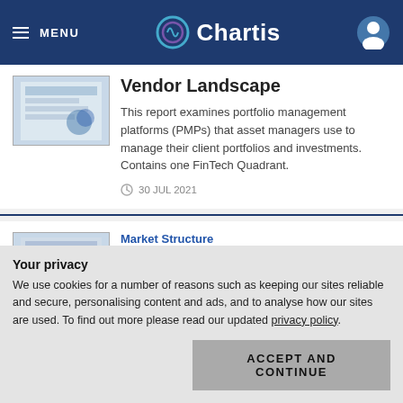MENU | Chartis
Vendor Landscape
This report examines portfolio management platforms (PMPs) that asset managers use to manage their client portfolios and investments. Contains one FinTech Quadrant.
30 JUL 2021
Market Structure
Execution Management Systems, 2021: Market and
Your privacy
We use cookies for a number of reasons such as keeping our sites reliable and secure, personalising content and ads, and to analyse how our sites are used. To find out more please read our updated privacy policy.
ACCEPT AND CONTINUE